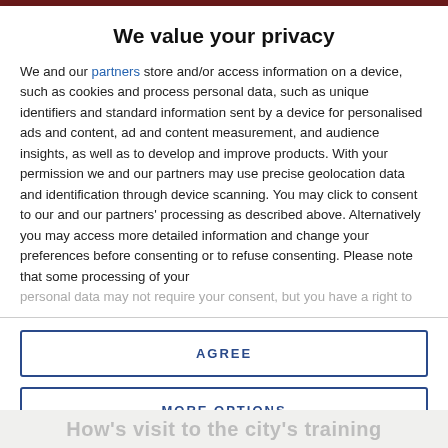We value your privacy
We and our partners store and/or access information on a device, such as cookies and process personal data, such as unique identifiers and standard information sent by a device for personalised ads and content, ad and content measurement, and audience insights, as well as to develop and improve products. With your permission we and our partners may use precise geolocation data and identification through device scanning. You may click to consent to our and our partners’ processing as described above. Alternatively you may access more detailed information and change your preferences before consenting or to refuse consenting. Please note that some processing of your personal data may not require your consent, but you have a right to
AGREE
MORE OPTIONS
How's visit to the city's training